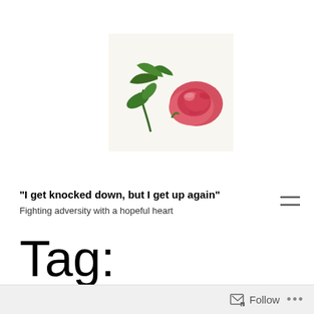[Figure (photo): A single red/pink rose lying on its side with green leaves, on a white background]
"I get knocked down, but I get up again"
Fighting adversity with a hopeful heart
Tag: assertyourself
Follow ...